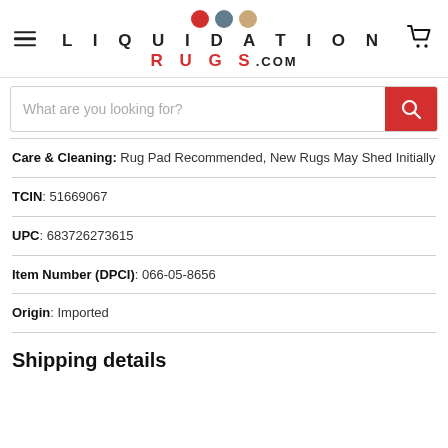LIQUIDATION RUGS.COM
What are you looking for?
Care & Cleaning: Rug Pad Recommended, New Rugs May Shed Initially
TCIN: 51669067
UPC: 683726273615
Item Number (DPCI): 066-05-8656
Origin: Imported
Shipping details